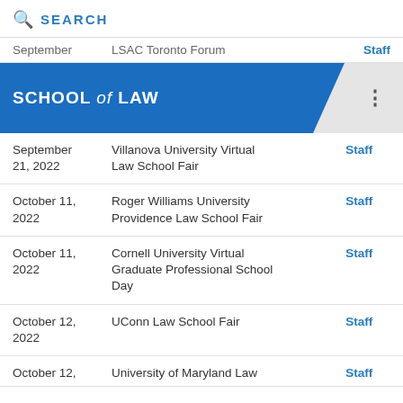SEARCH
September  LSAC Toronto Forum  Staff
[Figure (screenshot): Blue banner reading SCHOOL of LAW with three-dots menu icon on right]
| Date | Event | Contact |
| --- | --- | --- |
| September 21, 2022 | Villanova University Virtual Law School Fair | Staff |
| October 11, 2022 | Roger Williams University Providence Law School Fair | Staff |
| October 11, 2022 | Cornell University Virtual Graduate Professional School Day | Staff |
| October 12, 2022 | UConn Law School Fair | Staff |
| October 12, | University of Maryland Law Fair [partial] | Staff |